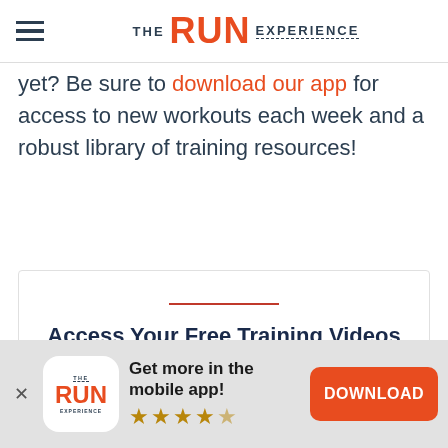THE RUN EXPERIENCE
yet? Be sure to download our app for access to new workouts each week and a robust library of training resources!
Access Your Free Training Videos
Get more in the mobile app! (4.5 stars) DOWNLOAD